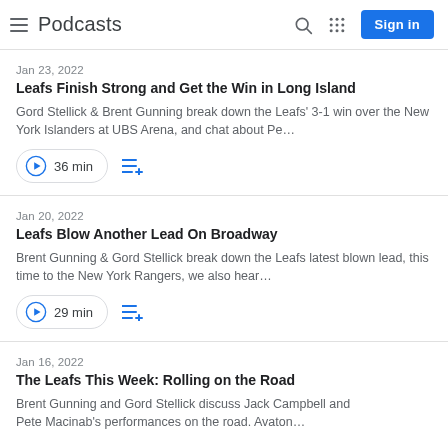Podcasts
Jan 23, 2022
Leafs Finish Strong and Get the Win in Long Island
Gord Stellick & Brent Gunning break down the Leafs' 3-1 win over the New York Islanders at UBS Arena, and chat about Pe…
36 min
Jan 20, 2022
Leafs Blow Another Lead On Broadway
Brent Gunning & Gord Stellick break down the Leafs latest blown lead, this time to the New York Rangers, we also hear…
29 min
Jan 16, 2022
The Leafs This Week: Rolling on the Road
Brent Gunning and Gord Stellick discuss Jack Campbell and Pete Macinab's performances on the road. Avator…